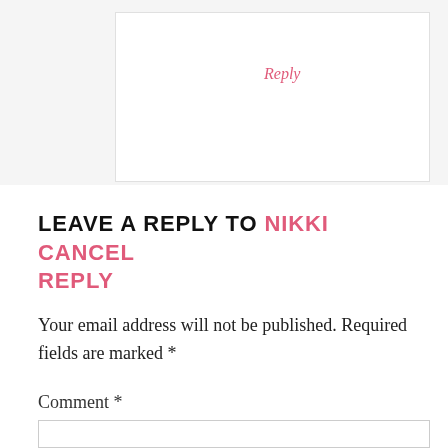Reply
LEAVE A REPLY TO NIKKI CANCEL REPLY
Your email address will not be published. Required fields are marked *
Comment *